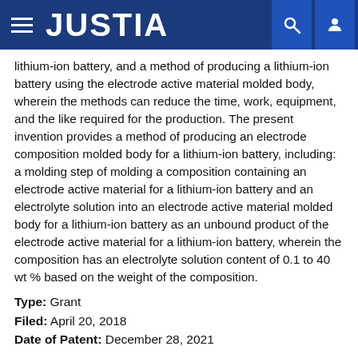JUSTIA
lithium-ion battery, and a method of producing a lithium-ion battery using the electrode active material molded body, wherein the methods can reduce the time, work, equipment, and the like required for the production. The present invention provides a method of producing an electrode composition molded body for a lithium-ion battery, including: a molding step of molding a composition containing an electrode active material for a lithium-ion battery and an electrolyte solution into an electrode active material molded body for a lithium-ion battery as an unbound product of the electrode active material for a lithium-ion battery, wherein the composition has an electrolyte solution content of 0.1 to 40 wt % based on the weight of the composition.
Type: Grant
Filed: April 20, 2018
Date of Patent: December 28, 2021